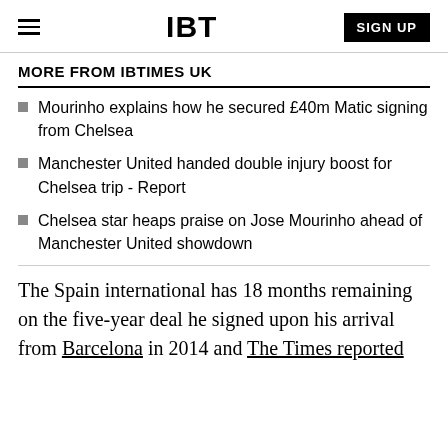IBT | SIGN UP
MORE FROM IBTIMES UK
Mourinho explains how he secured £40m Matic signing from Chelsea
Manchester United handed double injury boost for Chelsea trip - Report
Chelsea star heaps praise on Jose Mourinho ahead of Manchester United showdown
The Spain international has 18 months remaining on the five-year deal he signed upon his arrival from Barcelona in 2014 and The Times reported